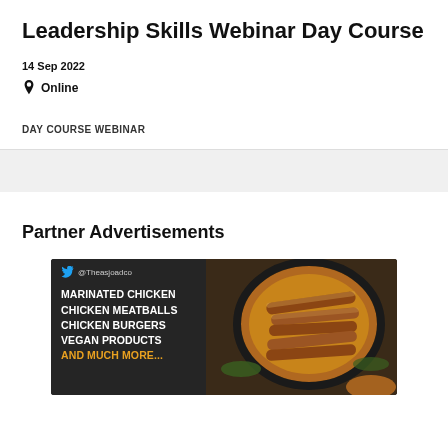Leadership Skills Webinar Day Course
14 Sep 2022
Online
DAY COURSE WEBINAR
Partner Advertisements
[Figure (photo): Food advertisement banner showing marinated chicken, chicken meatballs, chicken burgers, vegan products and more, with Twitter handle @Theasjoadco and a photo of sausages in a baking dish]